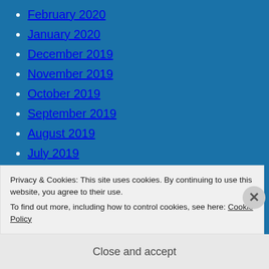February 2020
January 2020
December 2019
November 2019
October 2019
September 2019
August 2019
July 2019
June 2019
May 2019
April 2019
Privacy & Cookies: This site uses cookies. By continuing to use this website, you agree to their use.
To find out more, including how to control cookies, see here: Cookie Policy
Close and accept